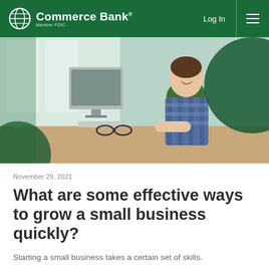Commerce Bank | Member FDIC | Log In
[Figure (photo): Man in plaid shirt sitting at a desk, smiling at a computer monitor in a bright office with plants. Commerce Bank article hero image.]
November 29, 2021
What are some effective ways to grow a small business quickly?
Starting a small business takes a certain set of skills.